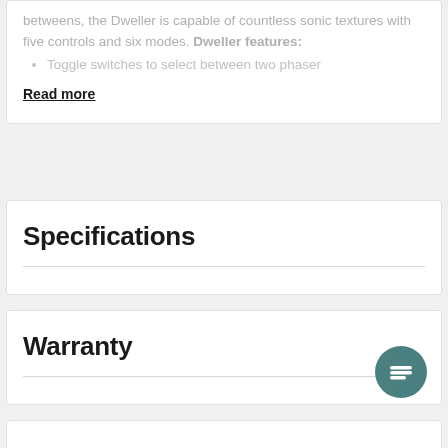betweens, the Dweller is capable of countless sonic textures with five controls and six modes. Dweller features:
Toggle switches to select between two phaser
Read more
Specifications
Warranty